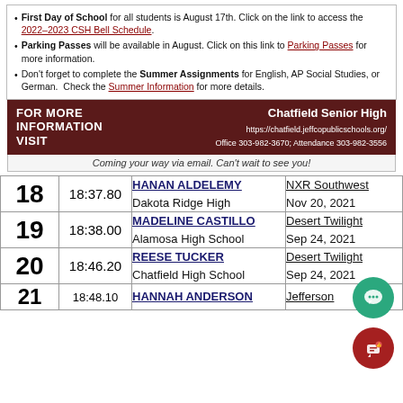First Day of School for all students is August 17th. Click on the link to access the 2022-2023 CSH Bell Schedule.
Parking Passes will be available in August. Click on this link to Parking Passes for more information.
Don't forget to complete the Summer Assignments for English, AP Social Studies, or German. Check the Summer Information for more details.
FOR MORE INFORMATION VISIT | Chatfield Senior High https://chatfield.jeffcopublicschools.org/ Office 303-982-3670; Attendance 303-982-3556
Coming your way via email. Can't wait to see you!
| Rank | Time | Athlete / School | Meet / Date |
| --- | --- | --- | --- |
| 18 | 18:37.80 | HANAN ALDELEMY
Dakota Ridge High | NXR Southwest
Nov 20, 2021 |
| 19 | 18:38.00 | MADELINE CASTILLO
Alamosa High School | Desert Twilight
Sep 24, 2021 |
| 20 | 18:46.20 | REESE TUCKER
Chatfield High School | Desert Twilight
Sep 24, 2021 |
| 21 | 18:48.10 | HANNAH ANDERSON | Jefferson |